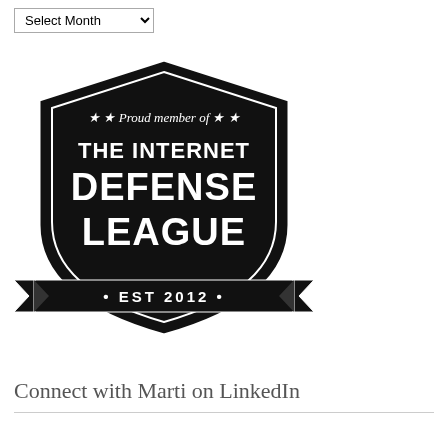[Figure (logo): Internet Defense League badge/shield logo with text 'Proud member of THE INTERNET DEFENSE LEAGUE EST 2012' on black shield shape]
Connect with Marti on LinkedIn